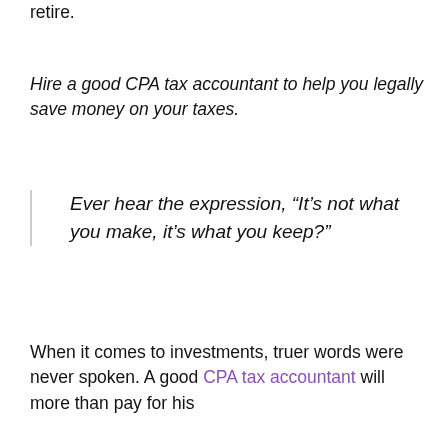retire.
Hire a good CPA tax accountant to help you legally save money on your taxes.
Ever hear the expression, “It’s not what you make, it’s what you keep?”
When it comes to investments, truer words were never spoken. A good CPA tax accountant will more than pay for his